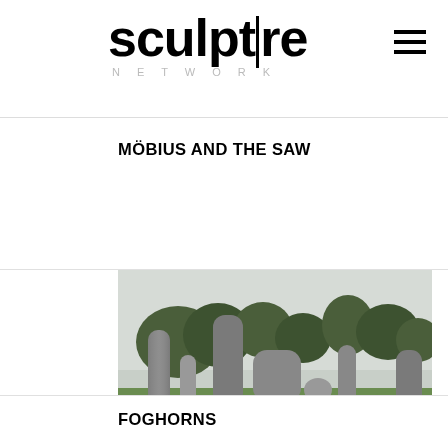sculpture NETWORK
MÖBIUS AND THE SAW
[Figure (photo): Outdoor sculpture installation showing several large rounded granite standing stones arranged in a field with green grass, trees in the background, overcast sky]
FOGHORNS